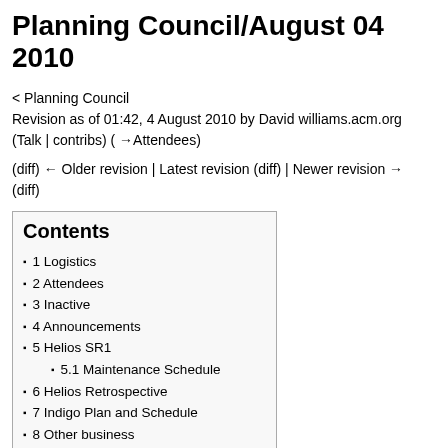Planning Council/August 04 2010
< Planning Council
Revision as of 01:42, 4 August 2010 by David williams.acm.org (Talk | contribs) (→Attendees)
(diff) ← Older revision | Latest revision (diff) | Newer revision → (diff)
Contents
1 Logistics
2 Attendees
3 Inactive
4 Announcements
5 Helios SR1
5.1 Maintenance Schedule
6 Helios Retrospective
7 Indigo Plan and Schedule
8 Other business
9 ToDo Items
10 Next Meeting
11 Reference